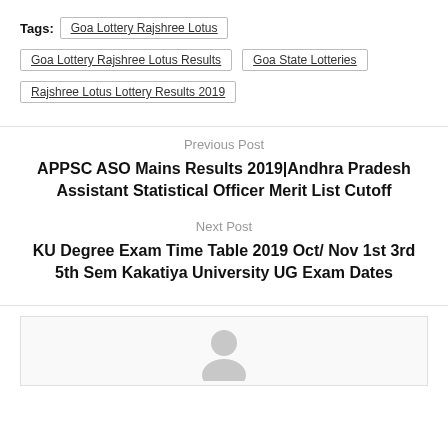Tags: Goa Lottery Rajshree Lotus | Goa Lottery Rajshree Lotus Results | Goa State Lotteries | Rajshree Lotus Lottery Results 2019
Previous Post
APPSC ASO Mains Results 2019|Andhra Pradesh Assistant Statistical Officer Merit List Cutoff
Next Post
KU Degree Exam Time Table 2019 Oct/ Nov 1st 3rd 5th Sem Kakatiya University UG Exam Dates
[Figure (illustration): Author avatar placeholder - circular grey silhouette icon]